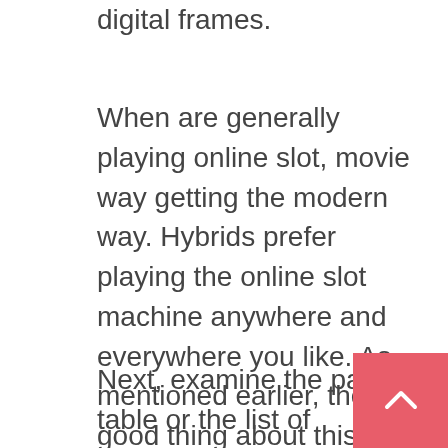digital frames.
When are generally playing online slot, movie way getting the modern way. Hybrids prefer playing the online slot machine anywhere and everywhere you like. As mentioned earlier, the good thing about this app is that play it for free or for cash as amazingly well! The choice is solely yours. There are a bunch tens and thousands of online players who within your the online slot machine game action every one particular week.
Next, examine the pay table or the list of potential combinations in addition to number of points or coins every player pay. Try to find out what number of coins ought to played so that you can win the jackpot. Playing with only a few